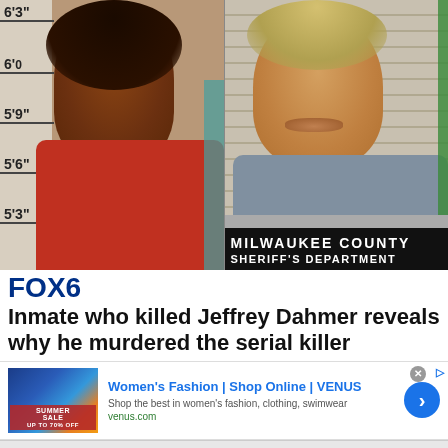[Figure (photo): Two side-by-side mugshot photos. Left: a Black man in a red tank top against a height ruler background showing marks at 5'3", 5'6", 5'9", 6'0", 6'3". Right: a white man with blond hair and a mustache in front of a Milwaukee County Sheriff's Department placard.]
FOX6
Inmate who killed Jeffrey Dahmer reveals why he murdered the serial killer
[Figure (screenshot): Advertisement banner for VENUS women's fashion. Shows a promotional image with summer sale text on the left, and text reading: Women's Fashion | Shop Online | VENUS, Shop the best in women's fashion, clothing, swimwear, venus.com. Blue circular arrow button on the right.]